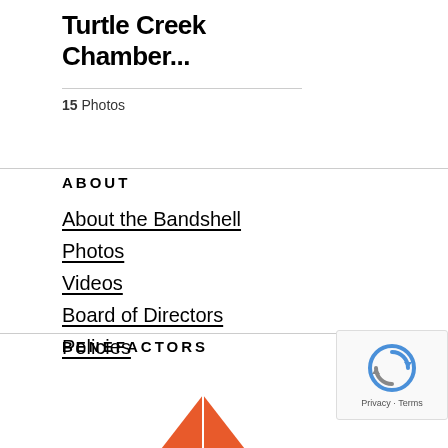Turtle Creek Chamber...
15 Photos
ABOUT
About the Bandshell
Photos
Videos
Board of Directors
Policies
BENEFACTORS
[Figure (logo): Orange triangle logo partially visible at bottom]